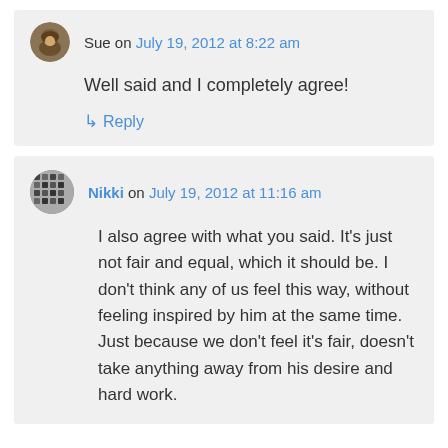Sue on July 19, 2012 at 8:22 am
Well said and I completely agree!
↳ Reply
Nikki on July 19, 2012 at 11:16 am
I also agree with what you said. It's just not fair and equal, which it should be. I don't think any of us feel this way, without feeling inspired by him at the same time. Just because we don't feel it's fair, doesn't take anything away from his desire and hard work.